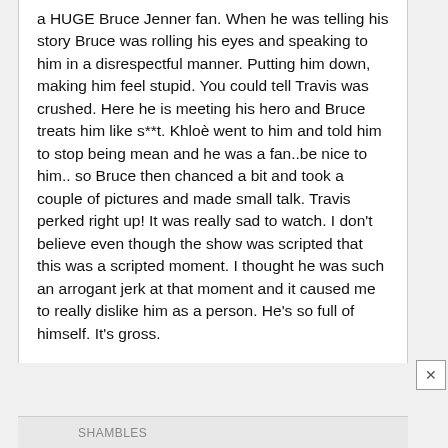a HUGE Bruce Jenner fan. When he was telling his story Bruce was rolling his eyes and speaking to him in a disrespectful manner. Putting him down, making him feel stupid. You could tell Travis was crushed. Here he is meeting his hero and Bruce treats him like s**t. Khloè went to him and told him to stop being mean and he was a fan..be nice to him.. so Bruce then chanced a bit and took a couple of pictures and made small talk. Travis perked right up! It was really sad to watch. I don't believe even though the show was scripted that this was a scripted moment. I thought he was such an arrogant jerk at that moment and it caused me to really dislike him as a person. He's so full of himself. It's gross.
SHAMBLES